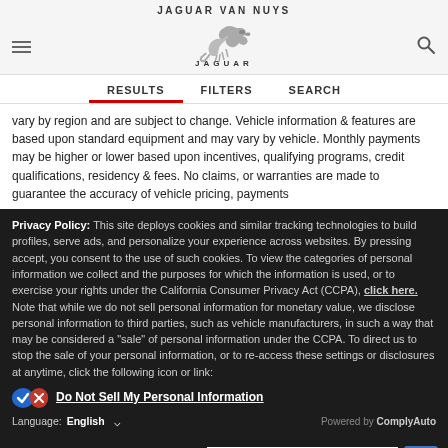JAGUAR VAN NUYS
[Figure (logo): Jaguar leaping cat logo with JAGUAR wordmark below]
RESULTS   FILTERS   SEARCH
vary by region and are subject to change. Vehicle information & features are based upon standard equipment and may vary by vehicle. Monthly payments may be higher or lower based upon incentives, qualifying programs, credit qualifications, residency & fees. No claims, or warranties are made to guarantee the accuracy of vehicle pricing, payments
Privacy Policy: This site deploys cookies and similar tracking technologies to build profiles, serve ads, and personalize your experience across websites. By pressing accept, you consent to the use of such cookies. To view the categories of personal information we collect and the purposes for which the information is used, or to exercise your rights under the California Consumer Privacy Act (CCPA), click here. Note that while we do not sell personal information for monetary value, we disclose personal information to third parties, such as vehicle manufacturers, in such a way that may be considered a "sale" of personal information under the CCPA. To direct us to stop the sale of your personal information, or to re-access these settings or disclosures at anytime, click the following icon or link:
Do Not Sell My Personal Information
Language: English   Powered by ComplyAuto
ACCEPT AND CONTINUE →   California Privacy Disclosures